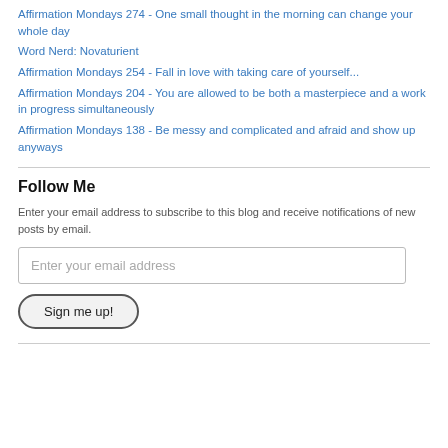Affirmation Mondays 274 - One small thought in the morning can change your whole day
Word Nerd: Novaturient
Affirmation Mondays 254 - Fall in love with taking care of yourself...
Affirmation Mondays 204 - You are allowed to be both a masterpiece and a work in progress simultaneously
Affirmation Mondays 138 - Be messy and complicated and afraid and show up anyways
Follow Me
Enter your email address to subscribe to this blog and receive notifications of new posts by email.
Enter your email address
Sign me up!